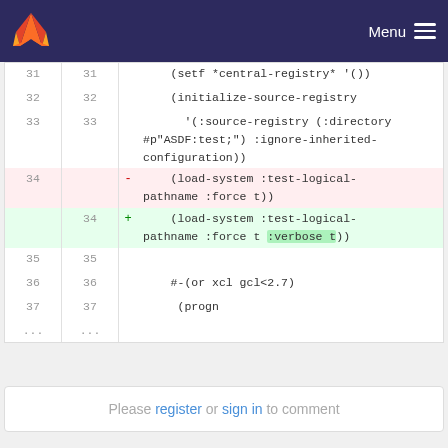Menu
[Figure (screenshot): GitLab code diff view showing lines 31-37 of a Lisp file. Line 34 is deleted (red): (load-system :test-logical-pathname :force t)). Line 34 added (green): (load-system :test-logical-pathname :force t :verbose t)) with :verbose t highlighted.]
Please register or sign in to comment